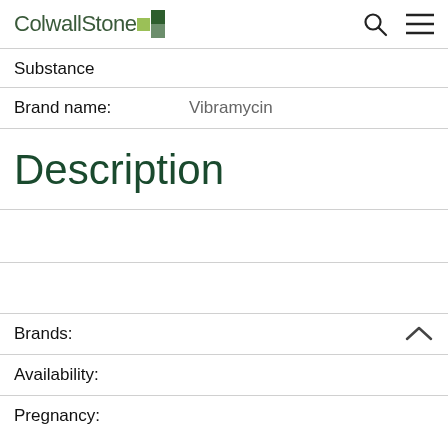ColwallStone [logo]
Substance
Brand name: Vibramycin
Description
Brands:
Availability:
Pregnancy: